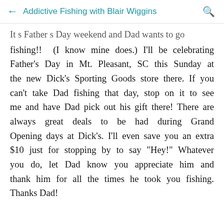← Addictive Fishing with Blair Wiggins 🔍
It's Father's Day weekend and Dad wants to go fishing!! (I know mine does.) I'll be celebrating Father's Day in Mt. Pleasant, SC this Sunday at the new Dick's Sporting Goods store there. If you can't take Dad fishing that day, stop on it to see me and have Dad pick out his gift there! There are always great deals to be had during Grand Opening days at Dick's. I'll even save you an extra $10 just for stopping by to say "Hey!" Whatever you do, let Dad know you appreciate him and thank him for all the times he took you fishing. Thanks Dad!